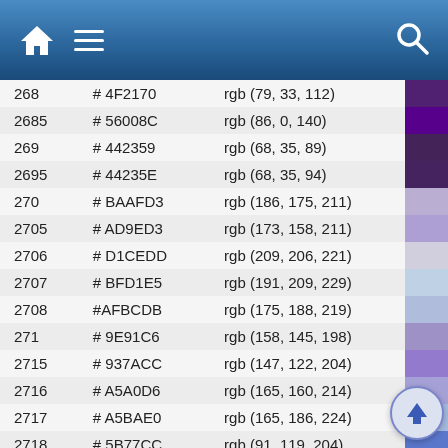Home | Menu | Search
| ID | Hex | RGB | Swatch |
| --- | --- | --- | --- |
| 268 | # 4F2170 | rgb (79, 33, 112) |  |
| 2685 | # 56008C | rgb (86, 0, 140) |  |
| 269 | # 442359 | rgb (68, 35, 89) |  |
| 2695 | # 44235E | rgb (68, 35, 94) |  |
| 270 | # BAAFD3 | rgb (186, 175, 211) |  |
| 2705 | # AD9ED3 | rgb (173, 158, 211) |  |
| 2706 | # D1CEDD | rgb (209, 206, 221) |  |
| 2707 | # BFD1E5 | rgb (191, 209, 229) |  |
| 2708 | #AFBCDB | rgb (175, 188, 219) |  |
| 271 | # 9E91C6 | rgb (158, 145, 198) |  |
| 2715 | # 937ACC | rgb (147, 122, 204) |  |
| 2716 | # A5A0D6 | rgb (165, 160, 214) |  |
| 2717 | # A5BAE0 | rgb (165, 186, 224) |  |
| 2718 | # 5B77CC | rgb (91, 119, 204) |  |